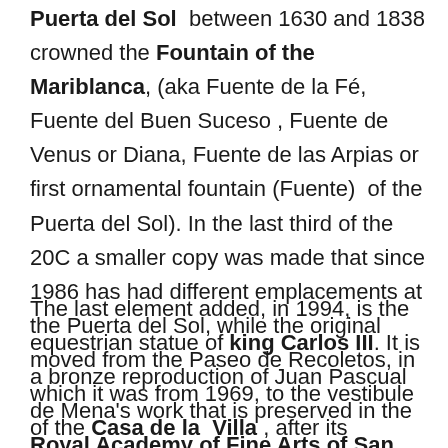Puerta del Sol between 1630 and 1838 crowned the Fountain of the Mariblanca, (aka Fuente de la Fé, Fuente del Buen Suceso , Fuente de Venus or Diana, Fuente de las Arpias or first ornamental fountain (Fuente) of the Puerta del Sol). In the last third of the 20C a smaller copy was made that since 1986 has had different emplacements at the Puerta del Sol, while the original moved from the Paseo de Recoletos, in which it was from 1969, to the vestibule of the Casa de la Villa , after its restoration in 1985.
The last element added, in 1994, is the equestrian statue of king Carlos III. It is a bronze reproduction of Juan Pascual de Mena's work that is preserved in the Royal Academy of Fine Arts of San Fernando. The spiral inscription surrounding the pedestal briefly describes the